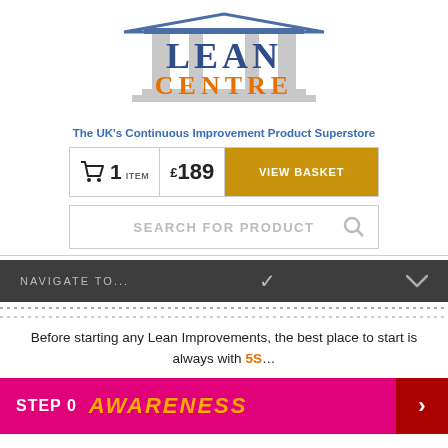[Figure (logo): Lean Centre logo with pillars/columns, LEAN in dark blue, CENTRE in orange]
The UK's Continuous Improvement Product Superstore
[Figure (infographic): Shopping basket bar showing 1 ITEM £189 with VIEW BASKET button in gold]
[Figure (screenshot): Search bar with placeholder text SEARCH FOR PRODUCT and magnifying glass icon]
[Figure (infographic): Dark navigation bar with NAVIGATE TO... and chevron arrow]
Before starting any Lean Improvements, the best place to start is always with 5S…
[Figure (infographic): Pink/magenta bar showing STEP 0 AWARENESS with red arrow on right]